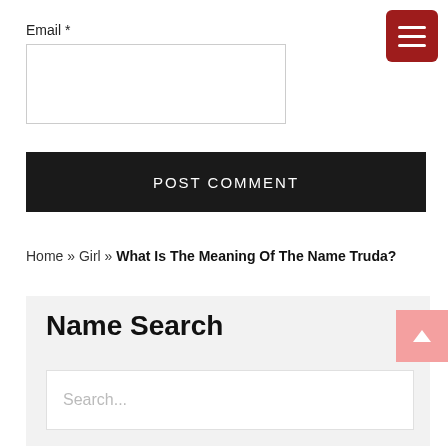Email *
[Figure (screenshot): Empty email input text field with border]
POST COMMENT
Home » Girl » What Is The Meaning Of The Name Truda?
Name Search
[Figure (screenshot): Search input field with placeholder text 'Search...']